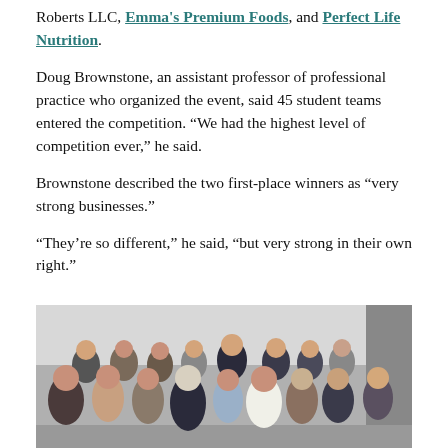Roberts LLC, Emma's Premium Foods, and Perfect Life Nutrition.
Doug Brownstone, an assistant professor of professional practice who organized the event, said 45 student teams entered the competition. “We had the highest level of competition ever,” he said.
Brownstone described the two first-place winners as “very strong businesses.”
“They’re so different,” he said, “but very strong in their own right.”
[Figure (photo): Group photo of approximately 15 people (students and faculty/judges) posing together in a room, likely after the business competition event.]